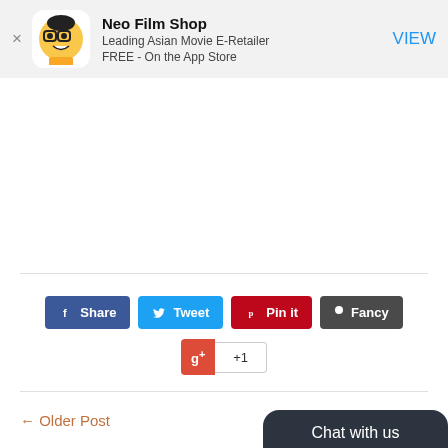[Figure (screenshot): App banner for Neo Film Shop with icon, title, subtitle, and VIEW button]
Neo Film Shop
Leading Asian Movie E-Retailer
FREE - On the App Store
VIEW
[Figure (infographic): Social share buttons: Share, Tweet, Pin it, Fancy, and Google +1]
← Older Post
Post →
Chat with us
Earn Rewards